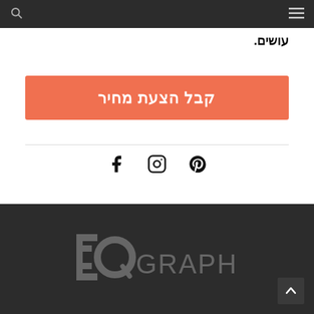Navigation bar with search and menu icons
עושים.
[Figure (other): Orange CTA button with Hebrew text קבל הצעת מחיר]
[Figure (other): Social media icons: Facebook, Instagram, Pinterest]
[Figure (logo): EQ Graphics logo in dark footer]